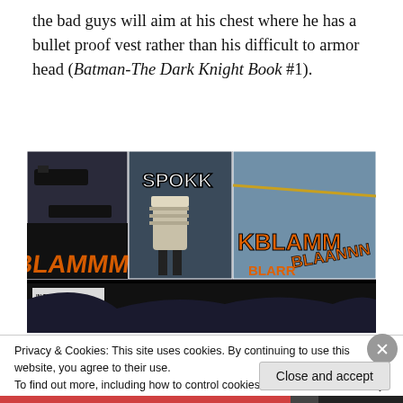the bad guys will aim at his chest where he has a bullet proof vest rather than his difficult to armor head (Batman-The Dark Knight Book #1).
[Figure (illustration): Comic book panel from Batman: The Dark Knight showing action scenes with sound effects SPOKK, BLAMMMM, KBLAMM, BLAMM, BLAANNN in orange lettering. Small caption text reads: IN TEN YEARS I'VE NEVER FELT SO CALM. SO RIGHT.]
Privacy & Cookies: This site uses cookies. By continuing to use this website, you agree to their use. To find out more, including how to control cookies, see here: Cookie Policy